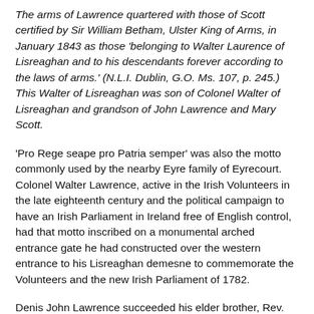The arms of Lawrence quartered with those of Scott certified by Sir William Betham, Ulster King of Arms, in January 1843 as those 'belonging to Walter Laurence of Lisreaghan and to his descendants forever according to the laws of arms.' (N.L.I. Dublin, G.O. Ms. 107, p. 245.) This Walter of Lisreaghan was son of Colonel Walter of Lisreaghan and grandson of John Lawrence and Mary Scott.
'Pro Rege seape pro Patria semper' was also the motto commonly used by the nearby Eyre family of Eyrecourt. Colonel Walter Lawrence, active in the Irish Volunteers in the late eighteenth century and the political campaign to have an Irish Parliament in Ireland free of English control, had that motto inscribed on a monumental arched entrance gate he had constructed over the western entrance to his Lisreaghan demesne to commemorate the Volunteers and the new Irish Parliament of 1782.
Denis John Lawrence succeeded his elder brother, Rev. Charles Lawrence, at Lisreaghan on the latter's death in July of 1895 [...] The arms of Lawrence were described in the 1843...